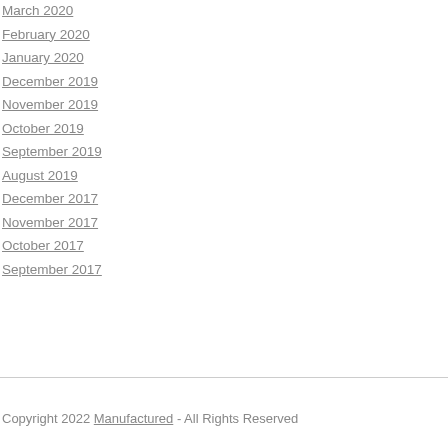March 2020
February 2020
January 2020
December 2019
November 2019
October 2019
September 2019
August 2019
December 2017
November 2017
October 2017
September 2017
Copyright 2022 Manufactured - All Rights Reserved